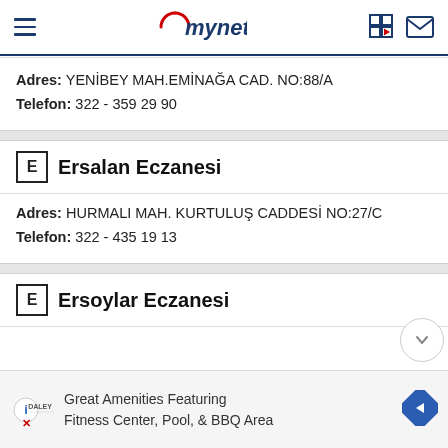mynet
Adres: YENİBEY MAH.EMİNAĞA CAD. NO:88/A
Telefon: 322 - 359 29 90
Ersalan Eczanesi
Adres: HURMALI MAH. KURTULUŞ CADDESİ NO:27/C
Telefon: 322 - 435 19 13
Ersoylar Eczanesi
Great Amenities Featuring Fitness Center, Pool, & BBQ Area